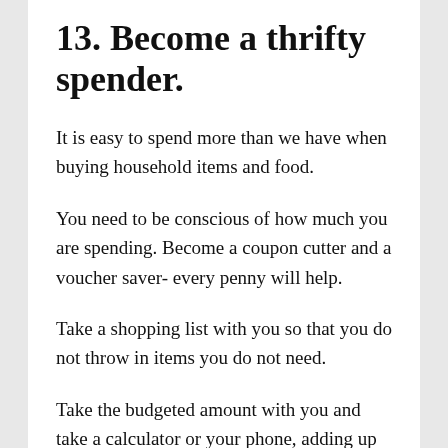13. Become a thrifty spender.
It is easy to spend more than we have when buying household items and food.
You need to be conscious of how much you are spending. Become a coupon cutter and a voucher saver- every penny will help.
Take a shopping list with you so that you do not throw in items you do not need.
Take the budgeted amount with you and take a calculator or your phone, adding up the items as